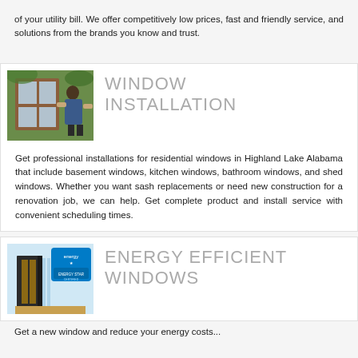of your utility bill. We offer competitively low prices, fast and friendly service, and solutions from the brands you know and trust.
[Figure (photo): A person installing or inspecting a wooden window from inside a home, with greenery visible outside.]
WINDOW INSTALLATION
Get professional installations for residential windows in Highland Lake Alabama that include basement windows, kitchen windows, bathroom windows, and shed windows. Whether you want sash replacements or need new construction for a renovation job, we can help. Get complete product and install service with convenient scheduling times.
[Figure (photo): A cross-section of an energy efficient window frame with an Energy Star label visible in the upper portion.]
ENERGY EFFICIENT WINDOWS
Get a new window and reduce your energy costs...